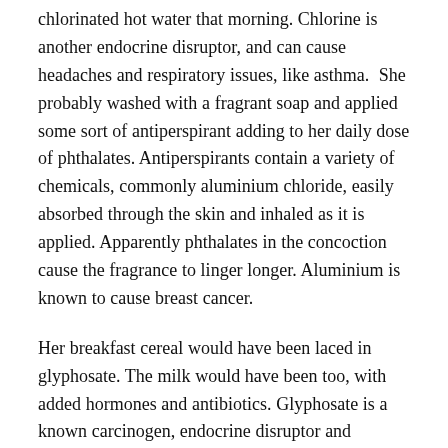chlorinated hot water that morning. Chlorine is another endocrine disruptor, and can cause headaches and respiratory issues, like asthma.  She probably washed with a fragrant soap and applied some sort of antiperspirant adding to her daily dose of phthalates. Antiperspirants contain a variety of chemicals, commonly aluminium chloride, easily absorbed through the skin and inhaled as it is applied. Apparently phthalates in the concoction cause the fragrance to linger longer. Aluminium is known to cause breast cancer.
Her breakfast cereal would have been laced in glyphosate. The milk would have been too, with added hormones and antibiotics. Glyphosate is a known carcinogen, endocrine disruptor and antibiotic. It kills off bacteria in the gut, but more importantly it damages our mitochondria (once bacteria in our cells),